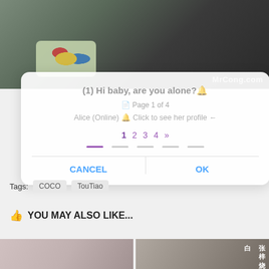[Figure (photo): Top portion of a photo showing a person, with MrCong.com watermark in bottom right]
[Figure (screenshot): Mobile dialog overlay showing pagination controls with text '(1) Hi baby, are you alone?', 'Page 1 of 4', 'Alice (Online) Click to see her profile', pagination numbers 1 2 3 4 », and CANCEL / OK buttons]
Tags: COCO TouTiao
YOU MAY ALSO LIKE...
[Figure (photo): Two thumbnail images at the bottom of the page — a person in white on the left, and a person with Chinese text overlay on the right]